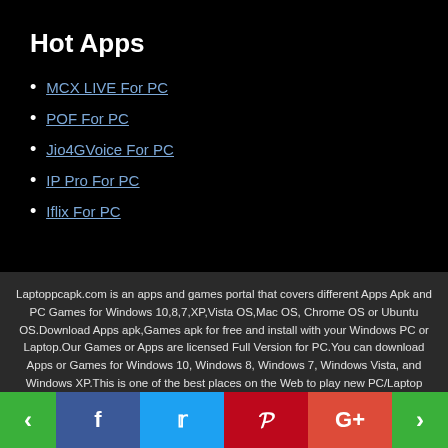Hot Apps
MCX LIVE For PC
POF For PC
Jio4GVoice For PC
IP Pro For PC
Iflix For PC
Laptoppcapk.com is an apps and games portal that covers different Apps Apk and PC Games for Windows 10,8,7,XP,Vista OS,Mac OS, Chrome OS or Ubuntu OS.Download Apps apk,Games apk for free and install with your Windows PC or Laptop.Our Games or Apps are licensed Full Version for PC.You can download Apps or Games for Windows 10, Windows 8, Windows 7, Windows Vista, and Windows XP.This is one of the best places on the Web to play new PC/Laptop games or apps for free in 2019!To download software or apps,you need to download the best android emulator:XePlayer first.